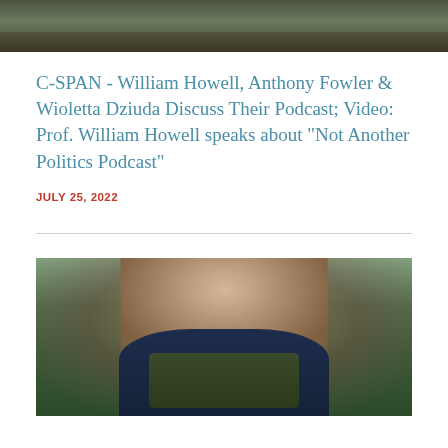[Figure (photo): Top portion of a photo showing two people outdoors with green/brown foliage background]
C-SPAN - William Howell, Anthony Fowler & Wioletta Dziuda Discuss Their Podcast; Video: Prof. William Howell speaks about "Not Another Politics Podcast"
JULY 25, 2022
[Figure (photo): Portrait photo of a woman with dark hair wearing a dark blazer and beaded necklace, outdoors with green foliage in background]